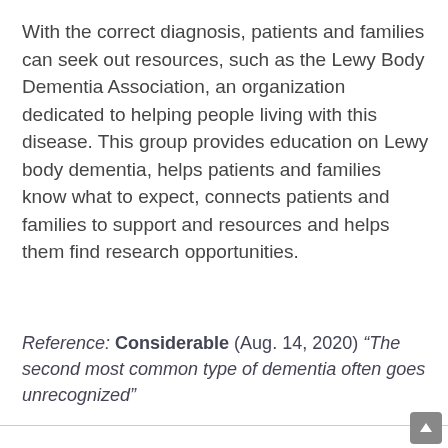With the correct diagnosis, patients and families can seek out resources, such as the Lewy Body Dementia Association, an organization dedicated to helping people living with this disease. This group provides education on Lewy body dementia, helps patients and families know what to expect, connects patients and families to support and resources and helps them find research opportunities.
Reference: Considerable (Aug. 14, 2020) "The second most common type of dementia often goes unrecognized"